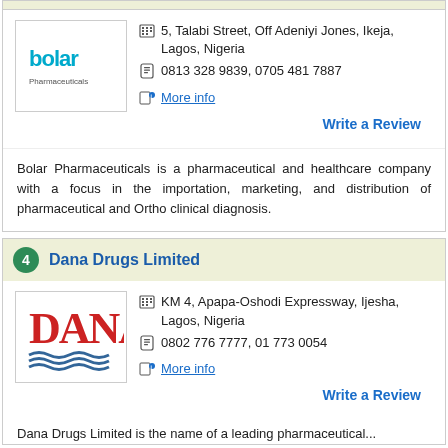[Figure (logo): Bolar Pharmaceuticals logo]
5, Talabi Street, Off Adeniyi Jones, Ikeja, Lagos, Nigeria
0813 328 9839, 0705 481 7887
More info
Write a Review
Bolar Pharmaceuticals is a pharmaceutical and healthcare company with a focus in the importation, marketing, and distribution of pharmaceutical and Ortho clinical diagnosis.
4 Dana Drugs Limited
[Figure (logo): Dana Drugs Limited logo]
KM 4, Apapa-Oshodi Expressway, Ijesha, Lagos, Nigeria
0802 776 7777, 01 773 0054
More info
Write a Review
Dana Drugs Limited is the name of a leading pharmaceutical...